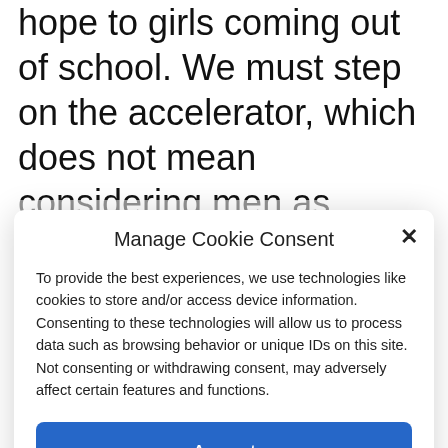hope to girls coming out of school. We must step on the accelerator, which does not mean considering men as enemies. I would not like a society that would only be made up of women any more than a world where men would dominate everything. I believe in a mixed society. I am for getting things done peacefully and firmly. We need to come to a
Manage Cookie Consent
To provide the best experiences, we use technologies like cookies to store and/or access device information. Consenting to these technologies will allow us to process data such as browsing behavior or unique IDs on this site. Not consenting or withdrawing consent, may adversely affect certain features and functions.
Accept
Cookie Policy